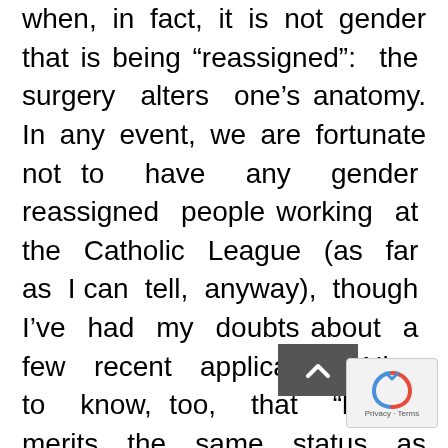when, in fact, it is not gender that is being “reassigned”: the surgery alters one’s anatomy. In any event, we are fortunate not to have any gender reassigned people working at the Catholic League (as far as I can tell, anyway), though I’ve had my doubts about a few recent applicants. Nice to know, too, that “belief” merits the same status as religion. If you can believe it.
The Brits also warn that at the Christmas party, “Muslim employees may feel excluded if the only religion option is an alcohol fueled trip to the pub.” Good thing we d… hire any—all we do is go to pubs.